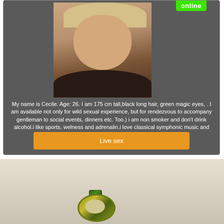[Figure (photo): Profile photo of a blonde woman named Cecile, with an 'online' green badge in the top right corner]
My name is Cecile. Age: 26. I am 175 cm tall,black long hair, green magic eyes, . I am available not only for wild sexual experience, but for rendezvous to accompany gentleman to social events, dinners etc. Too.) i am non smoker and don't drink alcohol.i like sports, welness and adrenalin.i love classical symphonic music and trance music.
Live sex
[Figure (photo): Close-up photo of a green and yellow decorative ring or jewelry piece against a light beige/grey background]